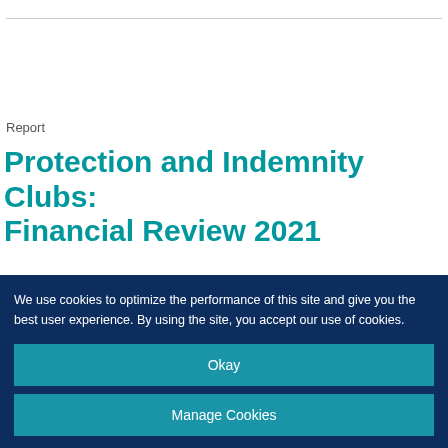Report
Protection and Indemnity Clubs: Financial Review 2021
For a complete financial analysis of the P&I club market
We use cookies to optimize the performance of this site and give you the best user experience. By using the site, you accept our use of cookies.
Okay
Manage Cookies